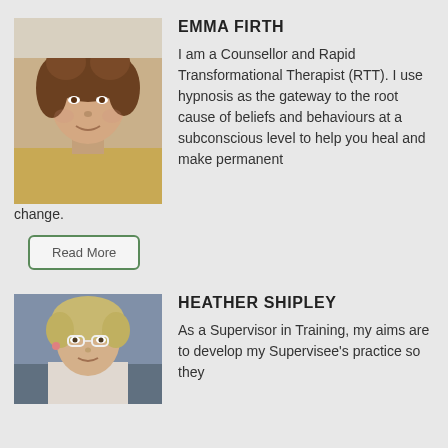[Figure (photo): Portrait photo of Emma Firth, a woman with curly brown hair, wearing a yellow top]
EMMA FIRTH
I am a Counsellor and Rapid Transformational Therapist (RTT). I use hypnosis as the gateway to the root cause of beliefs and behaviours at a subconscious level to help you heal and make permanent change.
Read More
[Figure (photo): Portrait photo of Heather Shipley, a woman with short blonde hair and white-framed glasses]
HEATHER SHIPLEY
As a Supervisor in Training, my aims are to develop my Supervisee's practice so they